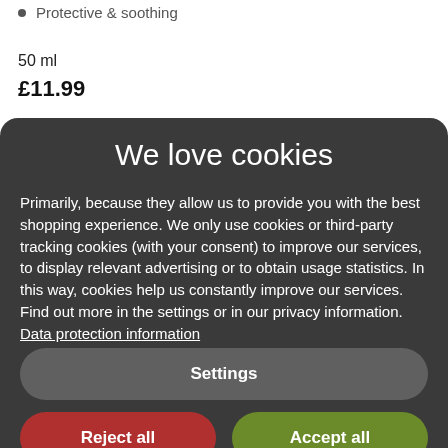Protective & soothing
50 ml
£11.99
We love cookies
Primarily, because they allow us to provide you with the best shopping experience. We only use cookies or third-party tracking cookies (with your consent) to improve our services, to display relevant advertising or to obtain usage statistics. In this way, cookies help us constantly improve our services. Find out more in the settings or in our privacy information. Data protection information
Settings
Reject all
Accept all